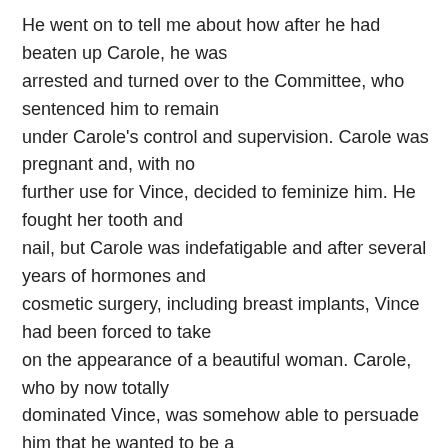He went on to tell me about how after he had beaten up Carole, he was arrested and turned over to the Committee, who sentenced him to remain under Carole's control and supervision. Carole was pregnant and, with no further use for Vince, decided to feminize him. He fought her tooth and nail, but Carole was indefatigable and after several years of hormones and cosmetic surgery, including breast implants, Vince had been forced to take on the appearance of a beautiful woman. Carole, who by now totally dominated Vince, was somehow able to persuade him that he wanted to be a complete woman.